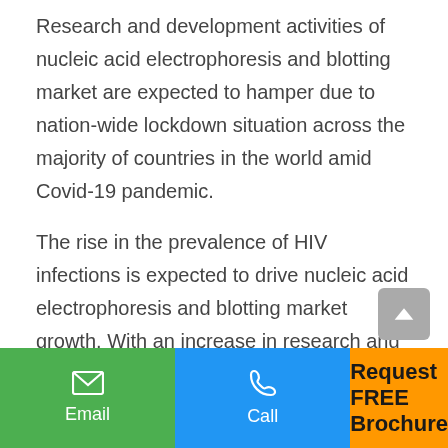Research and development activities of nucleic acid electrophoresis and blotting market are expected to hamper due to nation-wide lockdown situation across the majority of countries in the world amid Covid-19 pandemic.
The rise in the prevalence of HIV infections is expected to drive nucleic acid electrophoresis and blotting market growth. With an increase in research and development activities for the genomics and proteomics, the leading industry players are investing in the nucleic acid electrophoresis and blotting market.
In addition, the leading players are investing in the...